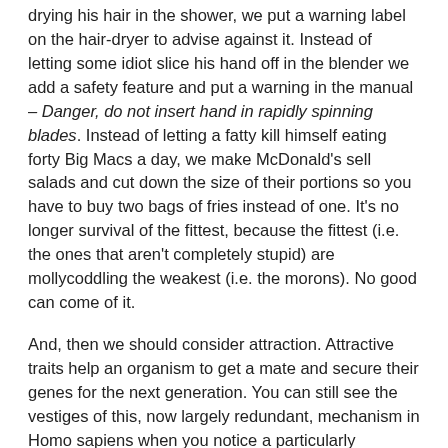drying his hair in the shower, we put a warning label on the hair-dryer to advise against it. Instead of letting some idiot slice his hand off in the blender we add a safety feature and put a warning in the manual – Danger, do not insert hand in rapidly spinning blades. Instead of letting a fatty kill himself eating forty Big Macs a day, we make McDonald's sell salads and cut down the size of their portions so you have to buy two bags of fries instead of one. It's no longer survival of the fittest, because the fittest (i.e. the ones that aren't completely stupid) are mollycoddling the weakest (i.e. the morons). No good can come of it.
And, then we should consider attraction. Attractive traits help an organism to get a mate and secure their genes for the next generation. You can still see the vestiges of this, now largely redundant, mechanism in Homo sapiens when you notice a particularly attractive person on the bus or whatever. You might think that this is great and that your attraction to that person proves that natural selection is doing its job. Nope. It's a vestige, a remnant. For proof, you should firstly consider how often you approach an attractive person towards which you feel the 'urge' and, secondly, consider Homo sapiens' current mating rituals…
Most of our mating (in my experience anyway) is initiated in the nightclub, after the pub and after a shitload of alcohol. Inhibitions are